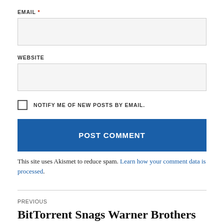EMAIL *
[Figure (other): Empty email text input field with light gray background]
WEBSITE
[Figure (other): Empty website text input field with light gray background]
NOTIFY ME OF NEW POSTS BY EMAIL.
POST COMMENT
This site uses Akismet to reduce spam. Learn how your comment data is processed.
PREVIOUS
BitTorrent Snags Warner Brothers